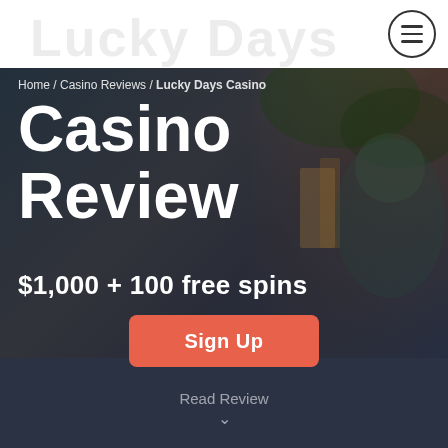Lucky Days
[Figure (illustration): Hero background image showing a bearded man character with nature/casino themed background, overlaid with dark semi-transparent gradient]
Home / Casino Reviews / Lucky Days Casino
Casino Review
$1,000 + 100 free spins
Sign Up
Read Review